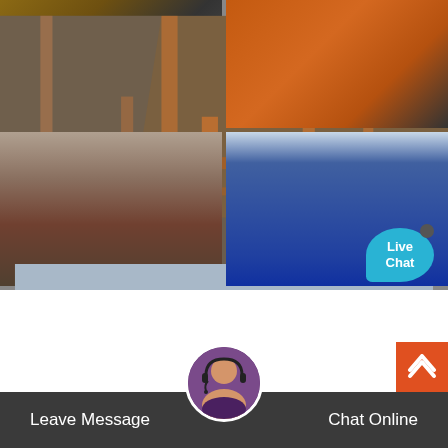[Figure (photo): Four-panel photo grid showing industrial/mining equipment: top-left shows a conveyor structure with orange metal framing, top-right shows orange crane/industrial framework outdoors, bottom-left shows a large open-pit mining conveyor belt system in arid landscape, bottom-right shows a long factory floor with rows of industrial machinery in blue and green.]
Cedarapids CRJ3042 Portable Jaw Crusher ...
2021-12-2 · The Cedarapids® CRJ3042 plant combines the popular JW42 jaw crusher with a high stroke, 42" x 20" (1067 x 6096 mm) vibratin... grizzly feeder resulting in a high production portable crushing ma... This plant includes a
Leave Message   Chat Online